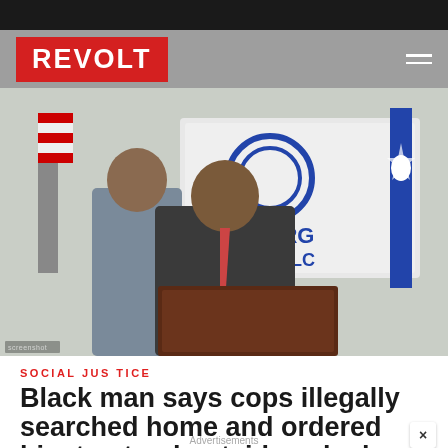[Figure (photo): Press conference scene showing two men in suits standing at a dark wood podium in front of a sign reading NBERG LLC, with an American flag and South Carolina state flag visible in the background. A REVOLT logo watermark appears in the top-left corner.]
SOCIAL JUSTICE
Black man says cops illegally searched home and ordered him to stand outside naked
Advertisements